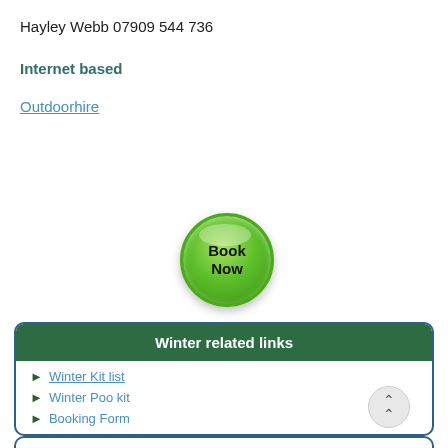Hayley Webb 07909 544 736
Internet based
Outdoorhire
[Figure (illustration): Green glossy 'Book Now' circular button]
Winter related links
Winter Kit list
Winter Poo kit
Booking Form